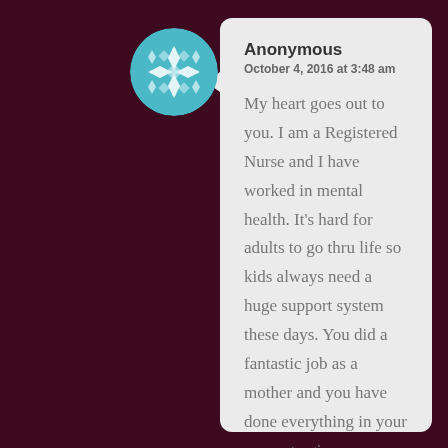[Figure (illustration): Circular avatar with teal and white geometric/quilt pattern design]
Anonymous
October 4, 2016 at 3:48 am
My heart goes out to you. I am a Registered Nurse and I have worked in mental health. It's hard for adults to go thru life so kids always need a huge support system these days. You did a fantastic job as a mother and you have done everything in your power to give your child a better life. Job well done
★ Liked by 1 person